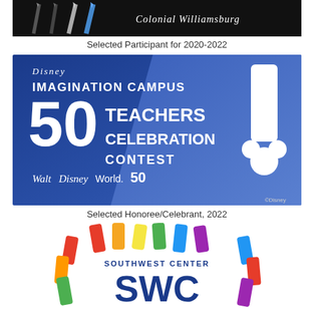[Figure (logo): Colonial Williamsburg banner image with pencil/pen illustrations on black background]
Selected Participant for 2020-2022
[Figure (logo): Disney Imagination Campus 50 Teachers Celebration Contest - Walt Disney World 50th anniversary promotional image with blue background and Mickey Mouse exclamation point]
Selected Honoree/Celebrant, 2022
[Figure (logo): Southwest Center SWC logo with colorful crayon/marker border design]